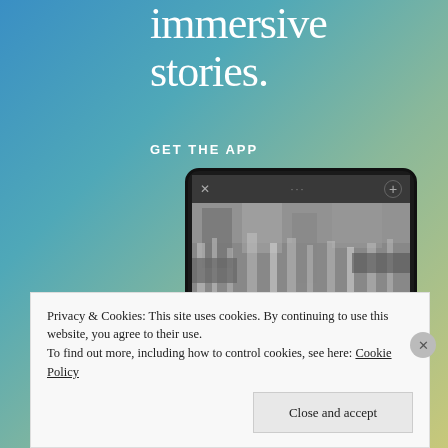[Figure (screenshot): App advertisement with gradient blue-green-yellow background showing large white serif text 'immersive stories.' and 'GET THE APP', with a tablet/phone mockup showing a waterfall photo with the label 'VISITING SKÓGAFOSS']
Privacy & Cookies: This site uses cookies. By continuing to use this website, you agree to their use.
To find out more, including how to control cookies, see here: Cookie Policy
Close and accept